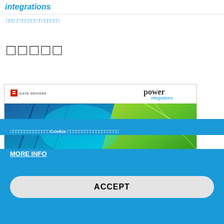integrations
□□□ / □□□□□□ / □□□□□□
□□□□□
[Figure (screenshot): Power Integrations gate drivers document preview with colorful blue and green abstract background]
□□□□□□□□□□□□□□Cookie □□□□□□□□□□□□□□□□□□
MORE INFO
ACCEPT